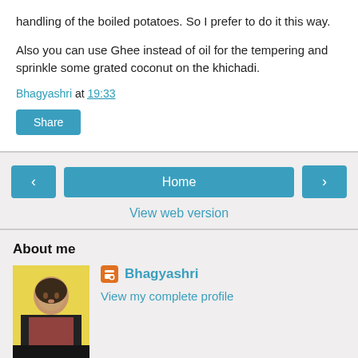handling of the boiled potatoes. So I prefer to do it this way.
Also you can use Ghee instead of oil for the tempering and sprinkle some grated coconut on the khichadi.
Bhagyashri at 19:33
Share
◄  Home  ►
View web version
About me
[Figure (photo): Profile photo of Bhagyashri]
Bhagyashri
View my complete profile
Powered by Blogger.